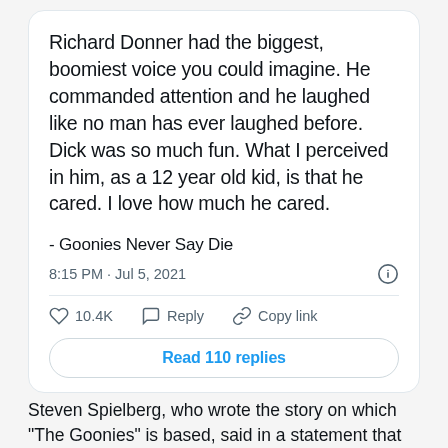Richard Donner had the biggest, boomiest voice you could imagine. He commanded attention and he laughed like no man has ever laughed before. Dick was so much fun. What I perceived in him, as a 12 year old kid, is that he cared. I love how much he cared.
- Goonies Never Say Die
8:15 PM · Jul 5, 2021
10.4K   Reply   Copy link
Read 110 replies
Steven Spielberg, who wrote the story on which "The Goonies" is based, said in a statement that